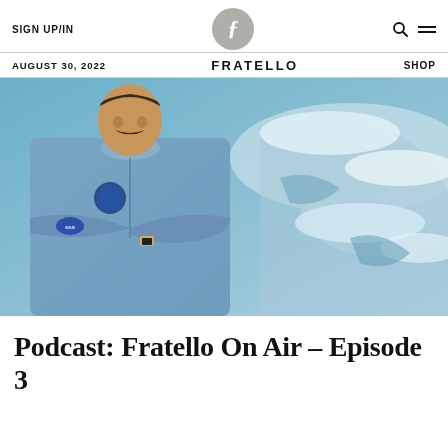SIGN UP/IN | FRATELLO | SHOP
AUGUST 30, 2022 | FRATELLO | SHOP
[Figure (photo): An astronaut in a blue ESA flight suit with arms crossed, standing in front of an aerial/space view of Earth showing coastlines and clouds.]
Podcast: Fratello On Air – Episode 3